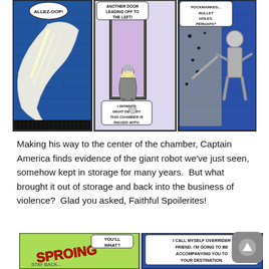[Figure (illustration): Three comic book panels. Left panel: A figure in a white/light costume swings or vaults with a speech bubble 'ALLEZ-OOP!'. Middle panel: A figure crouches near an open door in a purple-lit room with speech bubbles 'ANOTHER DOOR LEADING OFF TO THE LEFT!' and 'I WONDER WHAT DEVILRY THIS CHAMBER IS RIGGED WITH.' Right panel: A robotic or armored figure examines a pockmarked wall with speech bubble 'POCKMARKED... BULLET HOLES, PERHAPS?']
Making his way to the center of the chamber, Captain America finds evidence of the giant robot we’ve just seen, somehow kept in storage for many years.  But what brought it out of storage and back into the business of violence?  Glad you asked, Faithful Spoilerites!
[Figure (illustration): Bottom comic panels partially visible. Left panel shows action with 'SPROING' sound effect. Right panel shows a figure with speech bubble 'YOU'LL WHAT?' and another 'I CALL MYSELF OVERRIDER FRIEND. I'M GOING TO BE ACCOMPANYING YOU TO YOUR DESTINATION.']